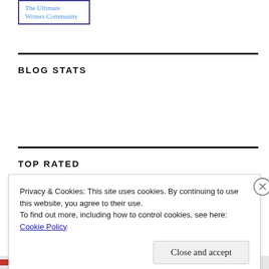[Figure (logo): Logo box with text 'The Ultimate Writers Community' in blue, bordered in dark blue]
BLOG STATS
75,894 views
TOP RATED
Privacy & Cookies: This site uses cookies. By continuing to use this website, you agree to their use.
To find out more, including how to control cookies, see here:
Cookie Policy
Close and accept